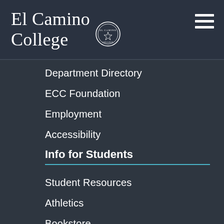El Camino College
Department Directory
ECC Foundation
Employment
Accessibility
Info for Students
Student Resources
Athletics
Bookstore
Library